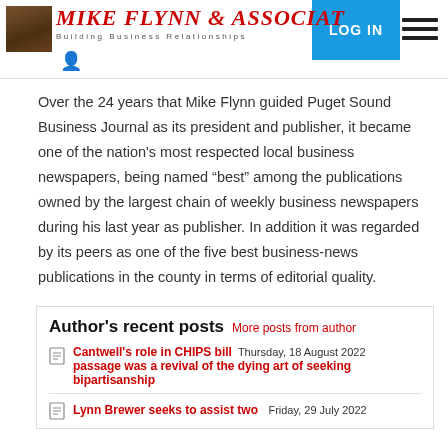Mike Flynn & Associates — Building Business Relationships | LOG IN
Over the 24 years that Mike Flynn guided Puget Sound Business Journal as its president and publisher, it became one of the nation's most respected local business newspapers, being named “best” among the publications owned by the largest chain of weekly business newspapers during his last year as publisher. In addition it was regarded by its peers as one of the five best business-news publications in the county in terms of editorial quality.
Author's recent posts  More posts from author
Cantwell's role in CHIPS bill passage was a revival of the dying art of seeking bipartisanship  Thursday, 18 August 2022
Lynn Brewer seeks to assist two  Friday, 29 July 2022